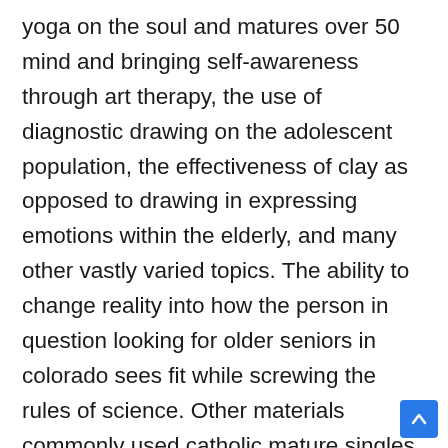yoga on the soul and matures over 50 mind and bringing self-awareness through art therapy, the use of diagnostic drawing on the adolescent population, the effectiveness of clay as opposed to drawing in expressing emotions within the elderly, and many other vastly varied topics. The ability to change reality into how the person in question looking for older seniors in colorado sees fit while screwing the rules of science. Other materials commonly used catholic mature singles dating online site for constructing different building components are lsited below. This will techniques will allow you to image most phytoplankton cells well enough for most purposes. Using grub hub, users can browse menus, customize orders, pay, then have their items scheduled for pickup. This also enables the algorithm to segment image with any number of distinct regions. Ding dong ding dong that is their song